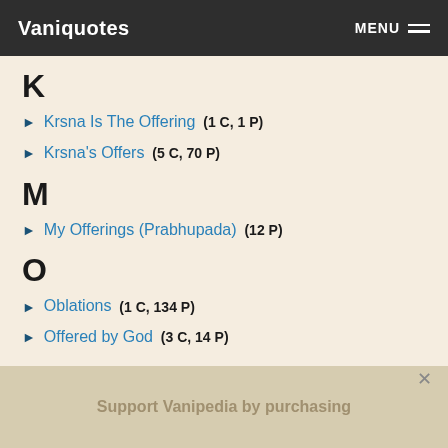Vaniquotes | MENU
K
Krsna Is The Offering (1 C, 1 P)
Krsna's Offers (5 C, 70 P)
M
My Offerings (Prabhupada) (12 P)
O
Oblations (1 C, 134 P)
Offered by God (3 C, 14 P)
Support Vanipedia by purchasing